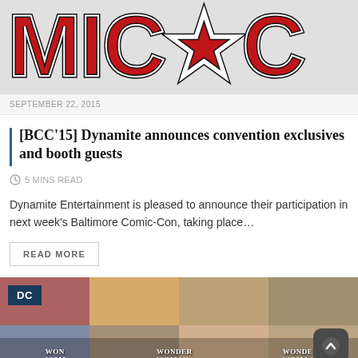[Figure (photo): Partial Comic-Con logo in red and black lettering, cropped showing 'MIC*C' portion]
SEPTEMBER 22, 2015
[BCC'15] Dynamite announces convention exclusives and booth guests
5 MINS READ
Dynamite Entertainment is pleased to announce their participation in next week's Baltimore Comic-Con, taking place…
READ MORE
[Figure (photo): Collage of Wonder Woman comic book covers with a DC badge label in top left corner and a scroll-to-top button in bottom right]